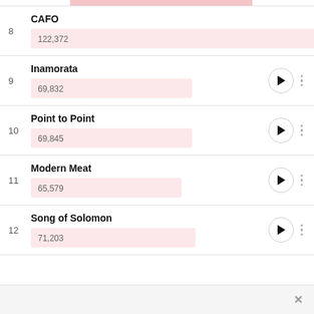8 CAFO 122,372
9 Inamorata 69,832
10 Point to Point 69,845
11 Modern Meat 65,579
12 Song of Solomon 71,203